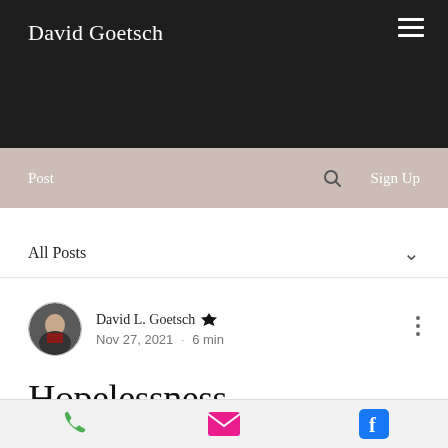David Goetsch
Post  Sign Up
All Posts
David L. Goetsch  Nov 27, 2021 · 6 min
Hopelessness
[Figure (photo): Partial view of a dark photograph at the bottom of the page]
Phone, Email, Facebook mobile action bar